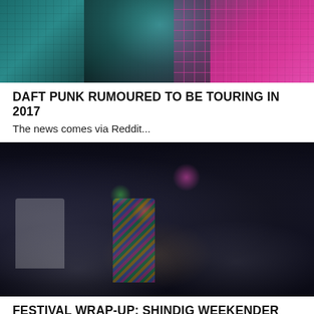[Figure (photo): Partial photo of a performer on stage, teal/cyan lighting on left, bright pink/magenta grid-patterned background on right]
DAFT PUNK RUMOURED TO BE TOURING IN 2017
The news comes via Reddit...
[Figure (photo): Crowd photo at a nightclub/festival event, people dancing and celebrating with arms raised, colorful neon accessories, striped clothing, dark background]
FESTIVAL WRAP-UP: SHINDIG WEEKENDER
If you catch it right, you can have the best time at boutique festivals. And with this third instalment, the